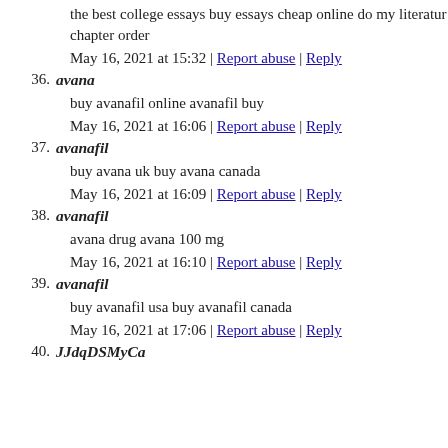the best college essays buy essays cheap online do my literature chapter order
May 16, 2021 at 15:32 | Report abuse | Reply
36. avana
buy avanafil online avanafil buy
May 16, 2021 at 16:06 | Report abuse | Reply
37. avanafil
buy avana uk buy avana canada
May 16, 2021 at 16:09 | Report abuse | Reply
38. avanafil
avana drug avana 100 mg
May 16, 2021 at 16:10 | Report abuse | Reply
39. avanafil
buy avanafil usa buy avanafil canada
May 16, 2021 at 17:06 | Report abuse | Reply
40. JJdqDSMyCa